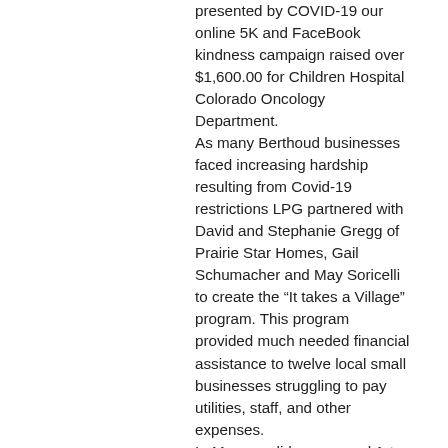presented by COVID-19 our online 5K and FaceBook kindness campaign raised over $1,600.00 for Children Hospital Colorado Oncology Department. As many Berthoud businesses faced increasing hardship resulting from Covid-19 restrictions LPG partnered with David and Stephanie Gregg of Prairie Star Homes, Gail Schumacher and May Soricelli to create the “It takes a Village” program. This program provided much needed financial assistance to twelve local small businesses struggling to pay utilities, staff, and other expenses. In May, we did our second A-to-Z bedroom makeover for a sweet little boy named Jayce. Jayce is a very active and loving four-year-old little boy battling a very rare cancer along with VIP. His dream was to have a dinosaur/jungle themed bedroom ... many generous donors and the tireless work of our Board of Directors provided the resources to create an imaginative and